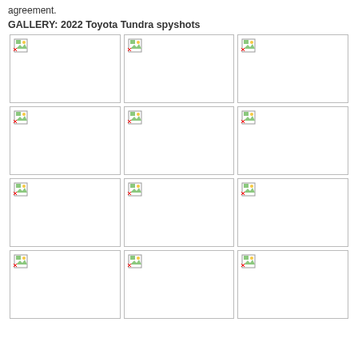agreement.
GALLERY: 2022 Toyota Tundra spyshots
[Figure (photo): Gallery grid of 12 placeholder images (broken image icons) for 2022 Toyota Tundra spyshots, arranged in a 3-column by 4-row layout.]